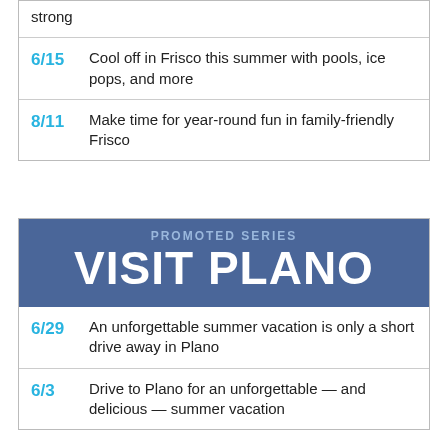strong
6/15 Cool off in Frisco this summer with pools, ice pops, and more
8/11 Make time for year-round fun in family-friendly Frisco
[Figure (infographic): Promoted Series banner with blue background reading 'PROMOTED SERIES' and 'VISIT PLANO']
6/29 An unforgettable summer vacation is only a short drive away in Plano
6/3 Drive to Plano for an unforgettable — and delicious — summer vacation